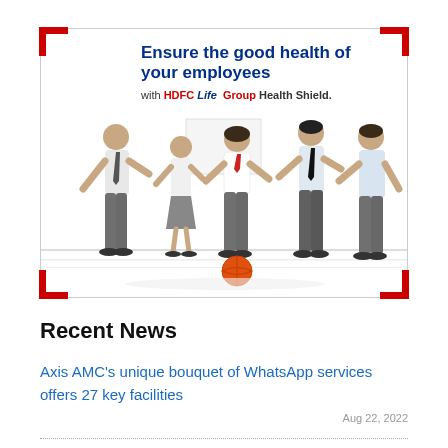[Figure (illustration): HDFC Life Group Health Shield advertisement banner. Shows headline 'Ensure the good health of your employees with HDFC Life Group Health Shield.' with an image of five office employees in business attire playing basketball together. Red corner bracket decorations surround the bordered ad.]
Recent News
Axis AMC's unique bouquet of WhatsApp services offers 27 key facilities
Aug 22, 2022